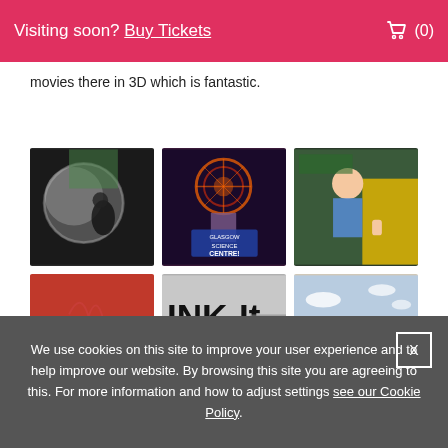Visiting soon? Buy Tickets  (0)
movies there in 3D which is fantastic.
[Figure (photo): Grid of 6 photos from Glasgow Science Centre: child at reflective sphere exhibit, Tesla coil demonstration with purple lighting, boy giving thumbs up holding items by yellow equipment, red textured surface close-up, INK-It exhibit sign, Glasgow Science Centre building exterior sign]
We use cookies on this site to improve your user experience and to help improve our website. By browsing this site you are agreeing to this. For more information and how to adjust settings see our Cookie Policy.